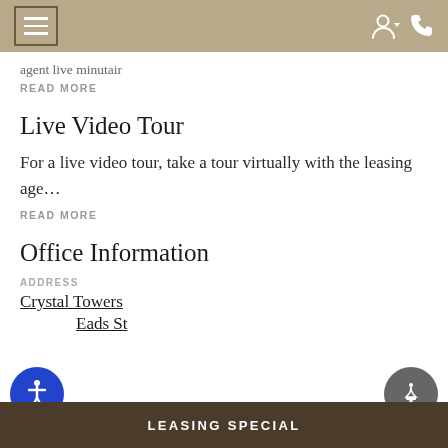Navigation bar with hamburger menu and icons
agent live minutair
READ MORE
Live Video Tour
For a live video tour, take a tour virtually with the leasing age…
READ MORE
Office Information
ADDRESS
Crystal Towers
1 Eads St
LEASING SPECIAL